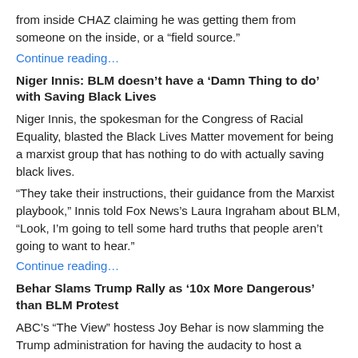from inside CHAZ claiming he was getting them from someone on the inside, or a “field source.”
Continue reading...
Niger Innis: BLM doesn’t have a ‘Damn Thing to do’ with Saving Black Lives
Niger Innis, the spokesman for the Congress of Racial Equality, blasted the Black Lives Matter movement for being a marxist group that has nothing to do with actually saving black lives.
“They take their instructions, their guidance from the Marxist playbook,” Innis told Fox News’s Laura Ingraham about BLM, “Look, I’m going to tell some hard truths that people aren’t going to want to hear.”
Continue reading...
Behar Slams Trump Rally as ’10x More Dangerous’ than BLM Protest
ABC’s “The View” hostess Joy Behar is now slamming the Trump administration for having the audacity to host a political rally. She claims he is a “menace” to the public health.